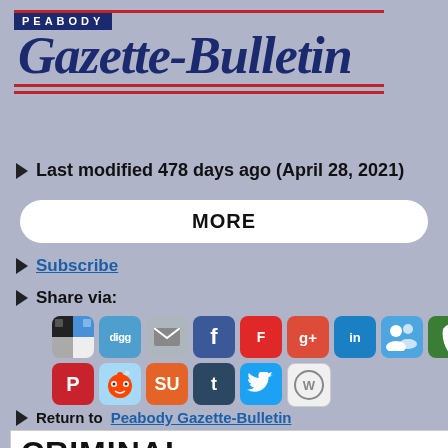[Figure (logo): Peabody Gazette-Bulletin newspaper logo with dark blue banner and red horizontal lines]
Last modified 478 days ago (April 28, 2021)
MORE
Subscribe
Share via:
[Figure (infographic): Social media sharing icons: Shareaholic, Digg, Email, Facebook, Flipboard, Google+, LinkedIn, MySpace, Newsvine, Pinterest, Reddit, StumbleUpon, Tumblr, Twitter, WordPress]
Return to Peabody Gazette-Bulletin
CRIMINAL